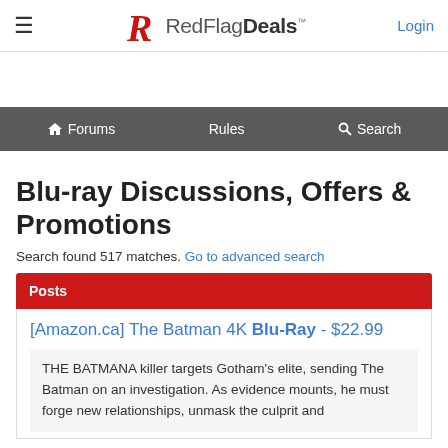RedFlagDeals™
Forums  Rules  Search
Blu-ray Discussions, Offers & Promotions
Search found 517 matches. Go to advanced search
Posts
[Amazon.ca] The Batman 4K Blu-Ray - $22.99
THE BATMANA killer targets Gotham's elite, sending The Batman on an investigation. As evidence mounts, he must forge new relationships, unmask the culprit and